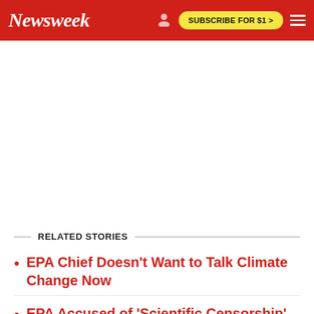Newsweek | SUBSCRIBE FOR $1 >
RELATED STORIES
EPA Chief Doesn't Want to Talk Climate Change Now
EPA Accused of 'Scientific Censorship'